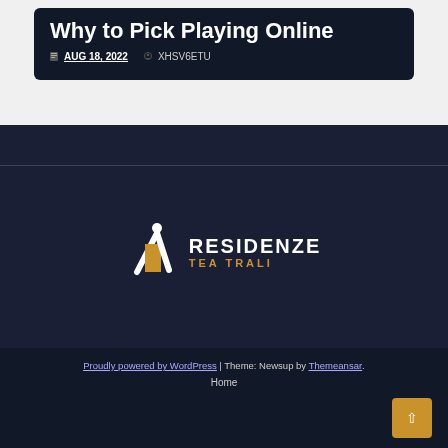Why to Pick Playing Online
AUG 18, 2022  XHSV6ETU
[Figure (logo): Residenze Tea Trali logo with stylized 'i' icon in white and gold, white text RESIDENZE, gold text TEA TRALI]
Proudly powered by WordPress | Theme: Newsup by Themeansar. Home